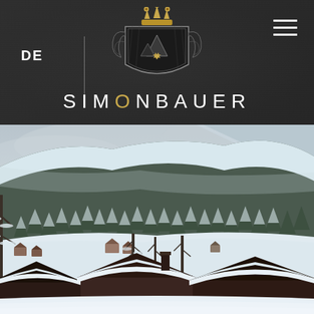DE | SIMONBAUER
[Figure (logo): Simonbauer heraldic crest logo with crown, shield and decorative elements in silver/dark tones with gold crown accent, above the text SIMONBAUER]
[Figure (photo): Winter alpine landscape with snow-covered rooftops of chalets in foreground, snow-laden deciduous trees in middle ground, dense snow-covered evergreen forest covering a mountain slope in background, overcast misty sky]